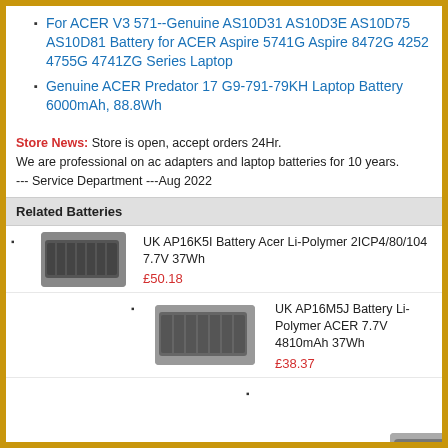For ACER V3 571--Genuine AS10D31 AS10D3E AS10D75 AS10D81 Battery for ACER Aspire 5741G Aspire 8472G 4252 4755G 4741ZG Series Laptop
Genuine ACER Predator 17 G9-791-79KH Laptop Battery 6000mAh, 88.8Wh
Store News: Store is open, accept orders 24Hr.
We are professional on ac adapters and laptop batteries for 10 years.
--- Service Department ---Aug 2022
Related Batteries
UK AP16K5I Battery Acer Li-Polymer 2ICP4/80/104 7.7V 37Wh
£50.18
UK AP16M5J Battery Li-Polymer ACER 7.7V 4810mAh 37Wh
£38.37
UK AP16C56 Battery ACER Li-Polymer 3.8V 41.89Wh 7200mAh
£33.09